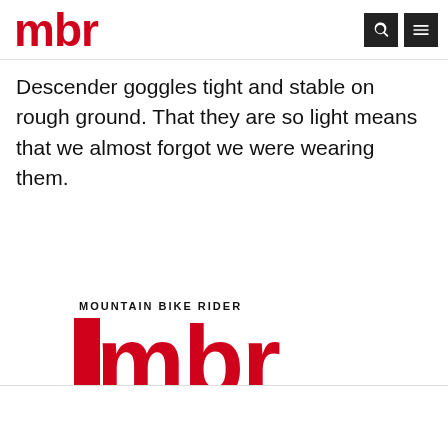mbr
Descender goggles tight and stable on rough ground. That they are so light means that we almost forgot we were wearing them.
[Figure (logo): Mountain Bike Rider MBR logo — large bold red lowercase 'mbr' with 'MOUNTAIN BIKE RIDER' text above in black caps]